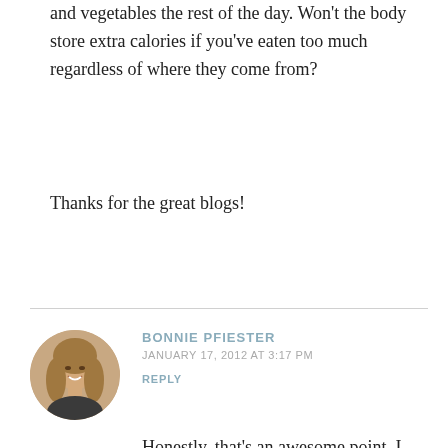and vegetables the rest of the day. Won't the body store extra calories if you've eaten too much regardless of where they come from?
Thanks for the great blogs!
BONNIE PFIESTER
JANUARY 17, 2012 AT 3:17 PM
REPLY
[Figure (photo): Circular avatar photo of Bonnie Pfiester, a woman with long blonde hair, smiling]
Honestly, that's an awesome point. I can't always get into every topic as deep as I'd like but you are right. If you are at a caloric deficit, you'll be losing weight anyone. But the main reason we really don't need to eat